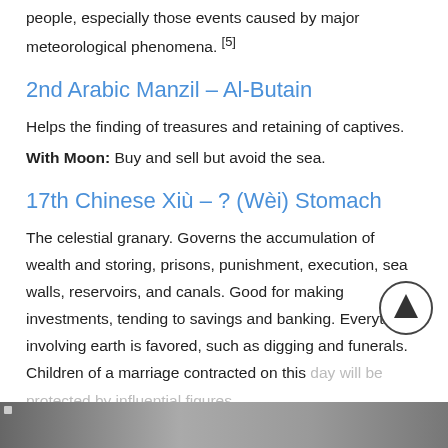people, especially those events caused by major meteorological phenomena. [5]
2nd Arabic Manzil – Al-Butain
Helps the finding of treasures and retaining of captives.
With Moon: Buy and sell but avoid the sea.
17th Chinese Xiù – ? (Wèi) Stomach
The celestial granary. Governs the accumulation of wealth and storing, prisons, punishment, execution, sea walls, reservoirs, and canals. Good for making investments, tending to savings and banking. Everything involving earth is favored, such as digging and funerals. Children of a marriage contracted on this day will be protected by influential figures.
[Figure (photo): Bottom image strip, partially visible]